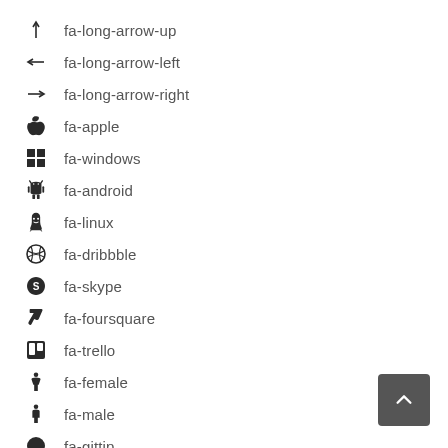fa-long-arrow-up
fa-long-arrow-left
fa-long-arrow-right
fa-apple
fa-windows
fa-android
fa-linux
fa-dribbble
fa-skype
fa-foursquare
fa-trello
fa-female
fa-male
fa-gittip